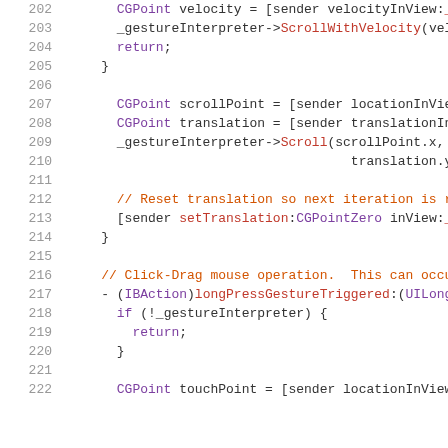[Figure (screenshot): Source code editor screenshot showing Objective-C/C++ code, lines 202–222, with syntax highlighting on a white background. Line numbers in gray on the left. Keywords in purple, method calls in red, comments in orange.]